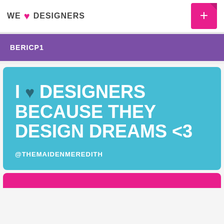WE ♥ DESIGNERS
BERICP1
I ♥ DESIGNERS BECAUSE THEY DESIGN DREAMS <3
@THEMAIDENMEREDITH
[Figure (other): Pink card partially visible at bottom]